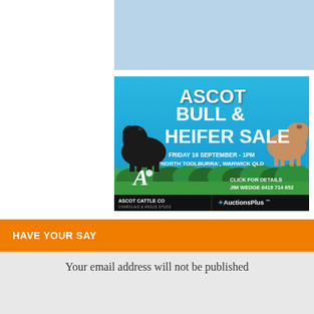[Figure (illustration): Light blue banner rectangle at top right of page]
[Figure (photo): Ascot Bull & Heifer Sale advertisement. Blue sky background with two cattle (black bull on left, tan heifer on right). Large white bold text reads ASCOT BULL & HEIFER SALE. Below: FRIDAY 16 SEPTEMBER - 1PM, 'NORTH TOOLBURRA', WARWICK QLD. Logo of Ascot Cattle Co Charolais & Angus Studs with stylized A logo. Right side: CLICK FOR DETAILS JIM WEDGE 0419 714 652. Bottom bar: ASCOT CATTLE CO CHAROLAIS & ANGUS STUDS and AuctionsPlus logo.]
HAVE YOUR SAY
Your email address will not be published